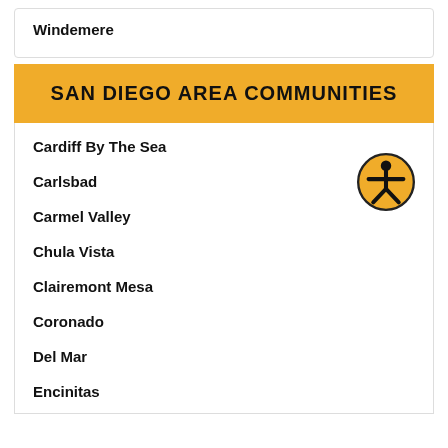Windemere
SAN DIEGO AREA COMMUNITIES
Cardiff By The Sea
Carlsbad
Carmel Valley
Chula Vista
Clairemont Mesa
Coronado
Del Mar
Encinitas